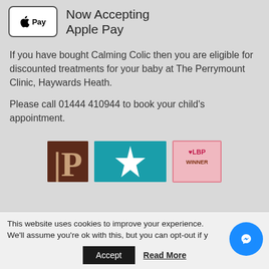[Figure (logo): Apple Pay logo in a rounded rectangle box with text 'Now Accepting Apple Pay' beside it]
If you have bought Calming Colic then you are eligible for discounted treatments for your baby at The Perrymount Clinic, Haywards Heath.

Please call 01444 410944 to book your child's appointment.
[Figure (logo): Three logos: a dark brown P logo, a teal star logo, and an LBP Winner award logo]
This website uses cookies to improve your experience. We'll assume you're ok with this, but you can opt-out if y
Accept
Read More